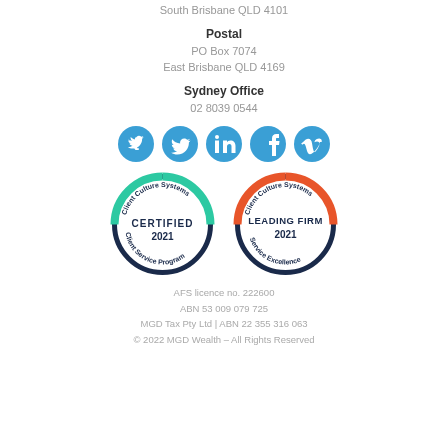South Brisbane QLD 4101
Postal
PO Box 7074
East Brisbane QLD 4169
Sydney Office
02 8039 0544
[Figure (illustration): Four social media icons (Twitter, LinkedIn, Facebook, Vimeo) as white icons on blue circles]
[Figure (illustration): Two circular certification badges: 'Client Culture Systems - CERTIFIED 2021 - Client Service Program' with teal/dark border, and 'Client Culture Systems - LEADING FIRM 2021 - Service Excellence' with orange/dark border]
AFS licence no. 222600
ABN 53 009 079 725
MGD Tax Pty Ltd | ABN 22 355 316 063
© 2022 MGD Wealth – All Rights Reserved